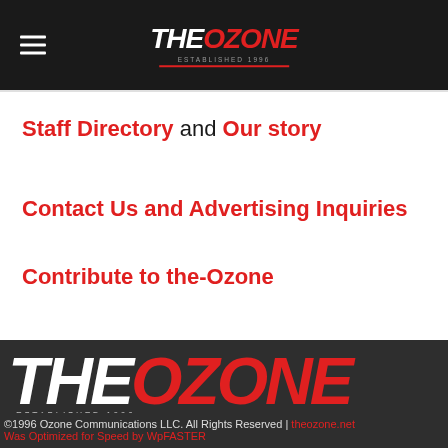THE OZONE — ESTABLISHED 1996 (header logo with hamburger menu)
Staff Directory and Our story
Contact Us and Advertising Inquiries
Contribute to the-Ozone
[Figure (logo): THE OZONE logo — ESTABLISHED 1996 — large white and red text on dark background]
©1996 Ozone Communications LLC. All Rights Reserved | theozone.net Was Optimized for Speed by WpFASTER